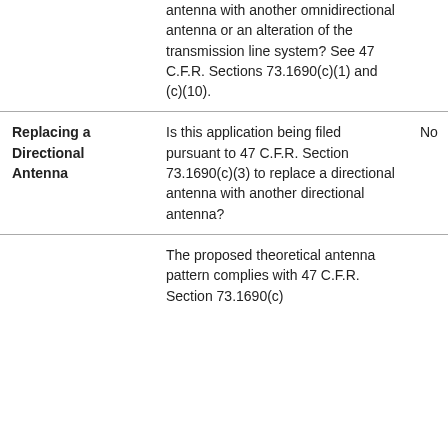|  | Question/Description | Answer |
| --- | --- | --- |
|  | antenna with another omnidirectional antenna or an alteration of the transmission line system? See 47 C.F.R. Sections 73.1690(c)(1) and (c)(10). |  |
| Replacing a Directional Antenna | Is this application being filed pursuant to 47 C.F.R. Section 73.1690(c)(3) to replace a directional antenna with another directional antenna? | No |
|  | The proposed theoretical antenna pattern complies with 47 C.F.R. Section 73.1690(c) |  |